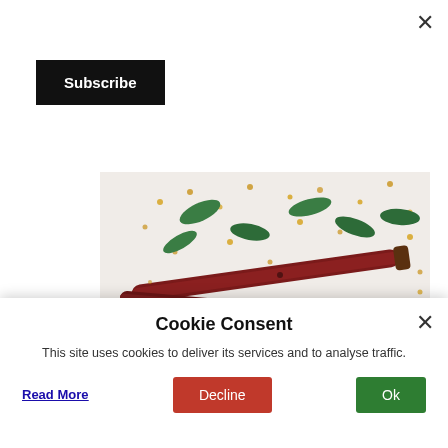×
Subscribe
[Figure (photo): Close-up photo of dried red chili peppers and green curry leaves scattered on a white surface with mustard seeds]
The hotel's buffet was really good with a range of salads and papadoms (crisps). The mains of-course has to begin with the Biriyani and gravies and subjis to accompany. The live counter has naan and roti made on order. During dinner the live counter also churns out some Italian and Chinese cuisine as well!
Cookie Consent
This site uses cookies to deliver its services and to analyse traffic.
Read More
Decline
Ok